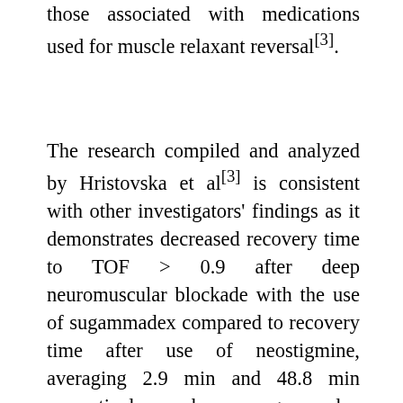those associated with medications used for muscle relaxant reversal[3].
The research compiled and analyzed by Hristovska et al[3] is consistent with other investigators' findings as it demonstrates decreased recovery time to TOF > 0.9 after deep neuromuscular blockade with the use of sugammadex compared to recovery time after use of neostigmine, averaging 2.9 min and 48.8 min respectively when sugammadex 4mg/kg and neostigmine 0.07mg/kg were administered. Another primary outcome investigated by this review is the presence of postoperative residual paralysis, defined as inability to perform a 5-second head lift, reports